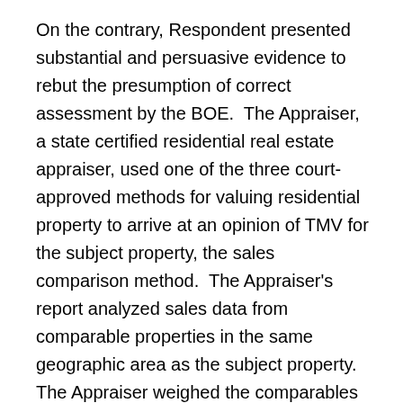On the contrary, Respondent presented substantial and persuasive evidence to rebut the presumption of correct assessment by the BOE.  The Appraiser, a state certified residential real estate appraiser, used one of the three court-approved methods for valuing residential property to arrive at an opinion of TMV for the subject property, the sales comparison method.  The Appraiser's report analyzed sales data from comparable properties in the same geographic area as the subject property.  The Appraiser weighed the comparables equally.  The Appraiser testified that she performed an exterior inspection only of the subject property and that the exterior appeared to be consistent with the C3 rating.  The appraisal report was based upon the “extraordinary assumption that the interior condition is the same as the observed exterior condition.”  Complainants did not refute that assumption.  Notably, the Appraiser testified that she did not use the July 2013 sale of the subject property as a comparable sale because that sale was not an indicator of TMV given that had been a government/foreclosure sale through